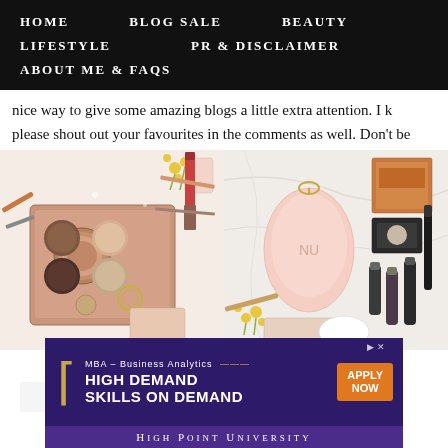HOME   BLOG SALE   BEAUTY   LIFESTYLE   PR & DISCLAIMER   ABOUT ME & FAQs
nice way to give some amazing blogs a little extra attention. I k please shout out your favourites in the comments as well. Don't be
[Figure (photo): Two beauty/makeup flat lay photos side by side: left shows an eyeshadow palette with warm tones, lipstick, and beauty accessories on white background; right shows a pink facial cleansing device surrounded by makeup products and brushes on marble surface]
[Figure (infographic): Advertisement banner for MBA Business Analytics at High Point University with text HIGH DEMAND SKILLS ON DEMAND and orange APPLY NOW button]